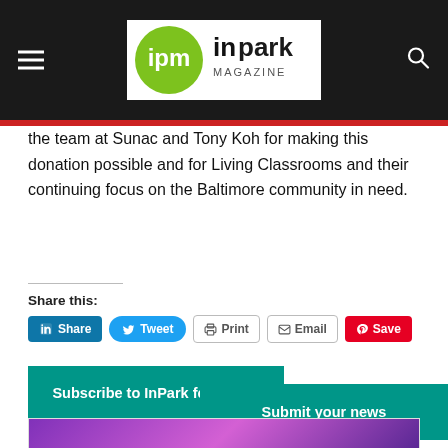ipm inpark MAGAZINE
the team at Sunac and Tony Koh for making this donation possible and for Living Classrooms and their continuing focus on the Baltimore community in need.
Share this:
[Figure (screenshot): Social share buttons: LinkedIn Share, Tweet, Print, Email, Pinterest Save]
[Figure (screenshot): Subscribe to InPark for FREE! teal banner button]
[Figure (screenshot): Submit your news teal banner button]
[Figure (photo): Article thumbnail showing a person wearing a cap under neon purple lighting]